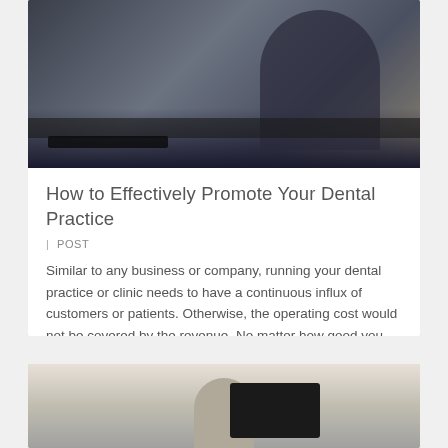[Figure (photo): Business person in dark suit working at a computer desk in an office environment]
How to Effectively Promote Your Dental Practice
| POST
Similar to any business or company, running your dental practice or clinic needs to have a continuous influx of customers or patients. Otherwise, the operating cost would not be covered by the revenue. No matter how good you are as … Read More
[Figure (photo): Person seen from behind looking at a computer monitor]